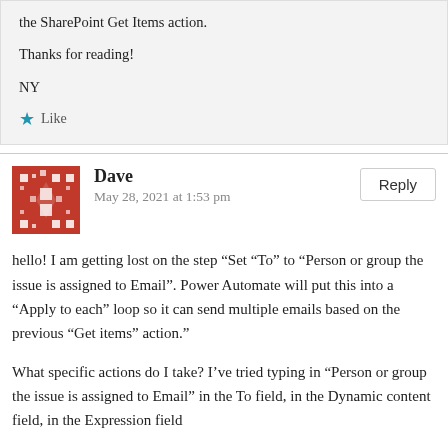the SharePoint Get Items action.

Thanks for reading!

NY
Like
Dave
May 28, 2021 at 1:53 pm
hello! I am getting lost on the step “Set “To” to “Person or group the issue is assigned to Email”. Power Automate will put this into a “Apply to each” loop so it can send multiple emails based on the previous “Get items” action.”
What specific actions do I take? I’ve tried typing in “Person or group the issue is assigned to Email” in the To field, in the Dynamic content field, in the Expression field